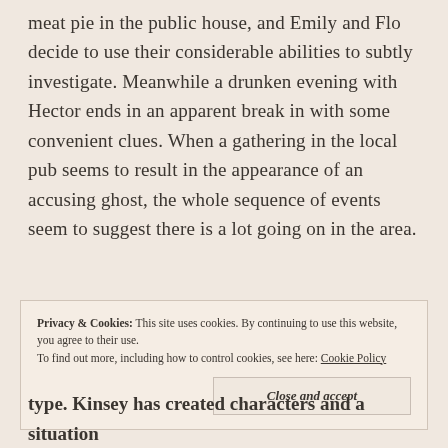meat pie in the public house, and Emily and Flo decide to use their considerable abilities to subtly investigate. Meanwhile a drunken evening with Hector ends in an apparent break in with some convenient clues. When a gathering in the local pub seems to result in the appearance of an accusing ghost, the whole sequence of events seem to suggest there is a lot going on in the area.
Privacy & Cookies: This site uses cookies. By continuing to use this website, you agree to their use. To find out more, including how to control cookies, see here: Cookie Policy
Close and accept
type. Kinsey has created characters and a situation